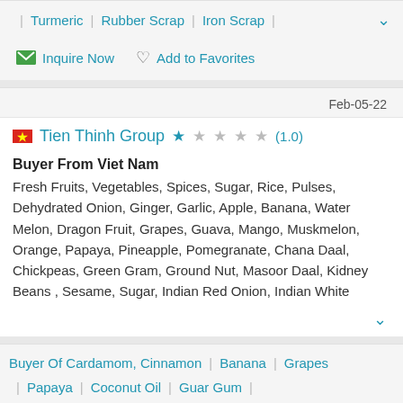Turmeric | Rubber Scrap | Iron Scrap
Inquire Now   Add to Favorites
Feb-05-22
Tien Thinh Group ★ (1.0)
Buyer From Viet Nam
Fresh Fruits, Vegetables, Spices, Sugar, Rice, Pulses, Dehydrated Onion, Ginger, Garlic, Apple, Banana, Water Melon, Dragon Fruit, Grapes, Guava, Mango, Muskmelon, Orange, Papaya, Pineapple, Pomegranate, Chana Daal, Chickpeas, Green Gram, Ground Nut, Masoor Daal, Kidney Beans , Sesame, Sugar, Indian Red Onion, Indian White
Buyer Of Cardamom, Cinnamon | Banana | Grapes | Papaya | Coconut Oil | Guar Gum